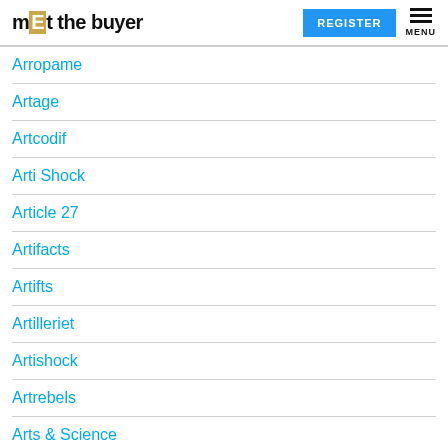mEEt the buyer | REGISTER | MENU
Arropame
Artage
Artcodif
Arti Shock
Article 27
Artifacts
Artifts
Artilleriet
Artishock
Artrebels
Arts & Science
Ashtik